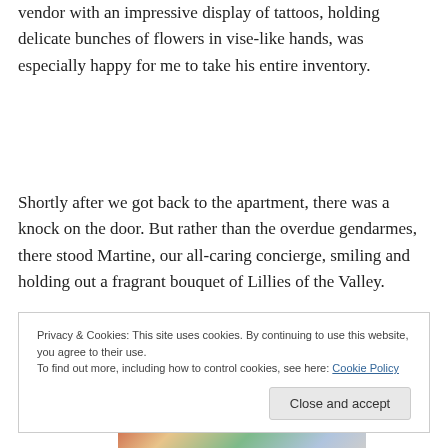vendor with an impressive display of tattoos, holding delicate bunches of flowers in vise-like hands, was especially happy for me to take his entire inventory.
Shortly after we got back to the apartment, there was a knock on the door. But rather than the overdue gendarmes, there stood Martine, our all-caring concierge, smiling and holding out a fragrant bouquet of Lillies of the Valley.
[Figure (photo): Partial view of a Parisian street scene with colorful storefronts and ornate building facades]
Privacy & Cookies: This site uses cookies. By continuing to use this website, you agree to their use.
To find out more, including how to control cookies, see here: Cookie Policy